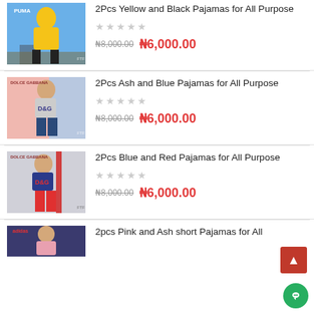[Figure (photo): Woman wearing yellow and black Puma pajama set]
2Pcs Yellow and Black Pajamas for All Purpose
★★★★★ ₦8,000.00 ₦6,000.00
[Figure (photo): Woman wearing ash and blue D&G pajama set]
2Pcs Ash and Blue Pajamas for All Purpose
★★★★★ ₦8,000.00 ₦6,000.00
[Figure (photo): Woman wearing blue and red D&G pajama set]
2Pcs Blue and Red Pajamas for All Purpose
★★★★★ ₦8,000.00 ₦6,000.00
[Figure (photo): Woman wearing pink and ash Adidas short pajamas]
2pcs Pink and Ash short Pajamas for All